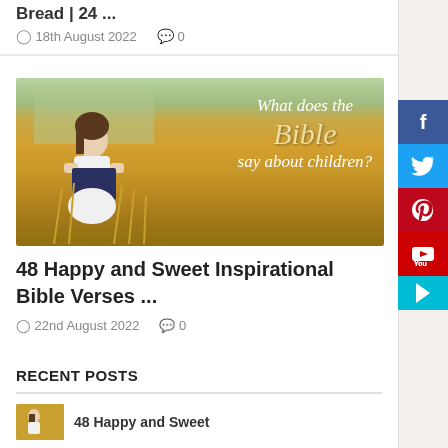Bread | 24 ...
18th August 2022   0
[Figure (photo): Girl holding a Bible in a wheat field with cursive overlay text reading 'What does the Bible say about children?']
48 Happy and Sweet Inspirational Bible Verses ...
22nd August 2022   0
RECENT POSTS
48 Happy and Sweet